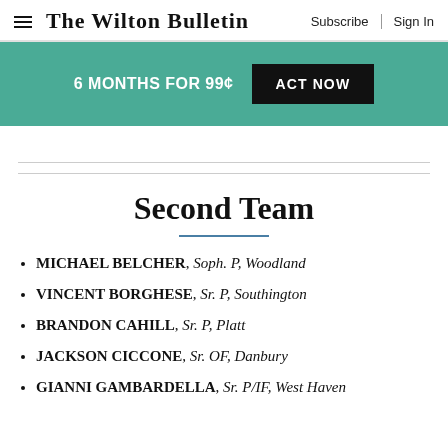The Wilton Bulletin — Subscribe | Sign In
[Figure (infographic): Promotional banner: '6 MONTHS FOR 99¢ — ACT NOW' on teal background with black button]
Second Team
MICHAEL BELCHER, Soph. P, Woodland
VINCENT BORGHESE, Sr. P, Southington
BRANDON CAHILL, Sr. P, Platt
JACKSON CICCONE, Sr. OF, Danbury
GIANNI GAMBARDELLA, Sr. P/IF, West Haven